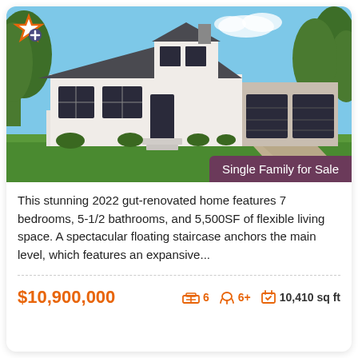[Figure (photo): Exterior photo of a large white single-family home with dark gray roof, multiple windows, two-car garage, green lawn, surrounded by trees under blue sky. Badge reads 'Single Family for Sale'.]
This stunning 2022 gut-renovated home features 7 bedrooms, 5-1/2 bathrooms, and 5,500SF of flexible living space. A spectacular floating staircase anchors the main level, which features an expansive...
$10,900,000  6  6+  10,410 sq ft